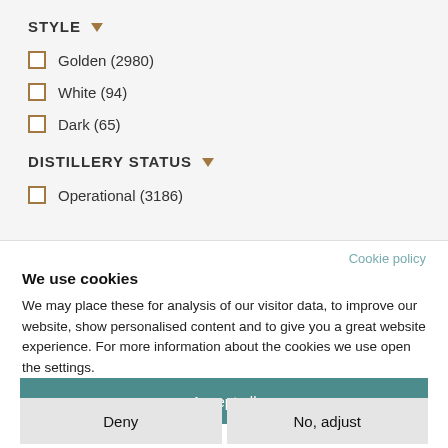STYLE
Golden (2980)
White (94)
Dark (65)
DISTILLERY STATUS
Operational (3186)
Cookie policy
We use cookies
We may place these for analysis of our visitor data, to improve our website, show personalised content and to give you a great website experience. For more information about the cookies we use open the settings.
Accept all
Deny
No, adjust